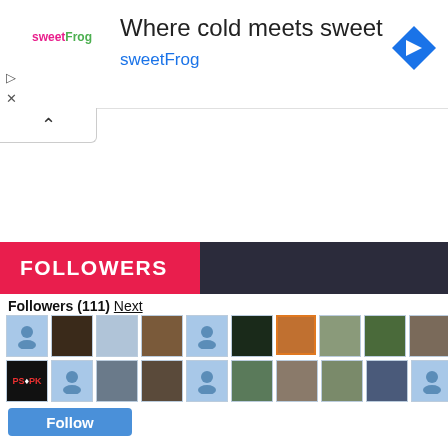[Figure (screenshot): Advertisement banner for sweetFrog with logo, tagline 'Where cold meets sweet', brand name 'sweetFrog', and a navigation arrow icon]
[Figure (screenshot): Collapse/chevron up button below the ad banner]
FOLLOWERS
Followers (111) Next
[Figure (photo): Grid of follower profile avatars and photos, two rows of ten thumbnails each]
Follow